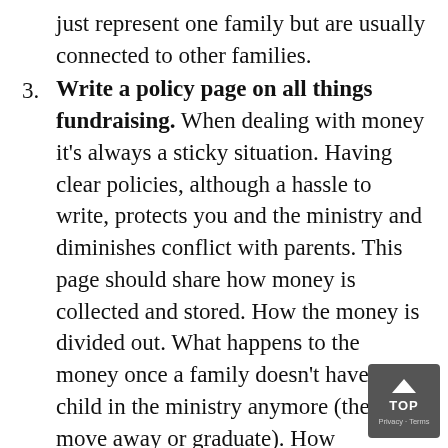just represent one family but are usually connected to other families.
Write a policy page on all things fundraising. When dealing with money it’s always a sticky situation.  Having clear policies, although a hassle to write, protects you and the ministry and diminishes conflict with parents.  This page should share how money is collected and stored.  How the money is divided out.  What happens to the money once a family doesn’t have a child in the ministry anymore (they move away or graduate).  How scholarships are given out.  Plus anything else you can think of.
Create a “fundraising account” for